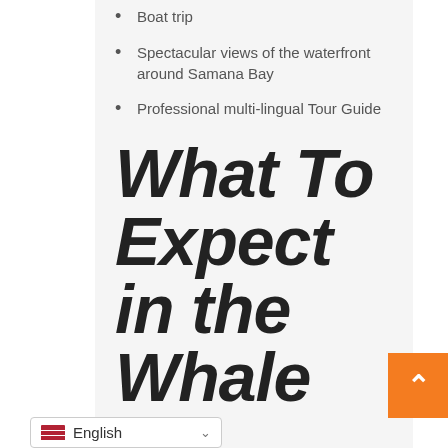Boat trip
Spectacular views of the waterfront around Samana Bay
Professional multi-lingual Tour Guide
What To Expect in the Whale...
English